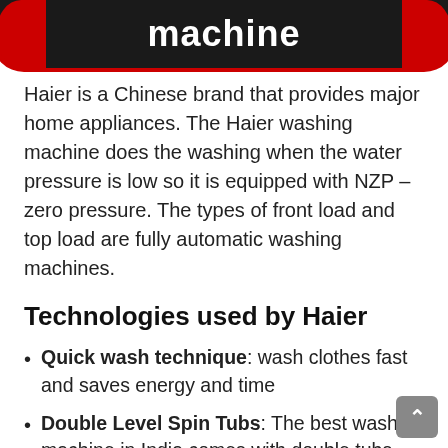machine
Haier is a Chinese brand that provides major home appliances. The Haier washing machine does the washing when the water pressure is low so it is equipped with NZP – zero pressure. The types of front load and top load are fully automatic washing machines.
Technologies used by Haier
Quick wash technique: wash clothes fast and saves energy and time
Double Level Spin Tubs: The best washing machine in India comes with double tubs, bottom tube drain water,